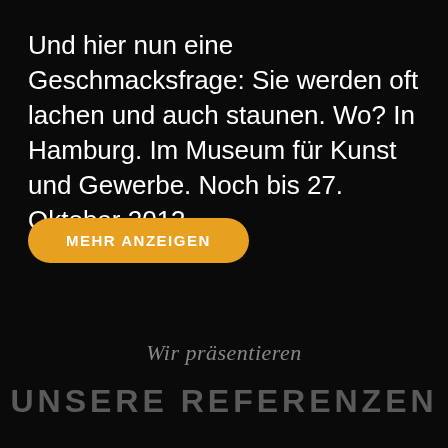Und hier nun eine Geschmacksfrage: Sie werden oft lachen und auch staunen. Wo? In Hamburg. Im Museum für Kunst und Gewerbe. Noch bis 27. Oktober 2013.
MEHR ANZEIGEN
Wir präsentieren
UNSERE REFERENZEN